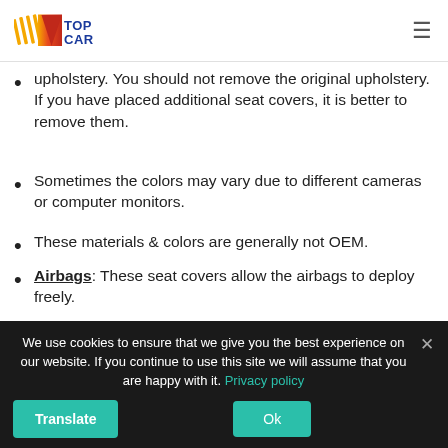TOP CAR logo and navigation menu
upholstery. You should not remove the original upholstery. If you have placed additional seat covers, it is better to remove them.
Sometimes the colors may vary due to different cameras or computer monitors.
These materials & colors are generally not OEM.
Airbags: These seat covers allow the airbags to deploy freely.
No Professional Installation Required: (EASY FIX SYSTEM)
These seat covers are designed to be easily installed,
We use cookies to ensure that we give you the best experience on our website. If you continue to use this site we will assume that you are happy with it. Privacy policy